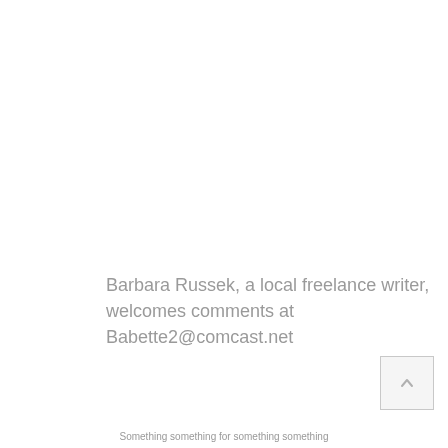Barbara Russek, a local freelance writer, welcomes comments at Babette2@comcast.net
Something something for something something